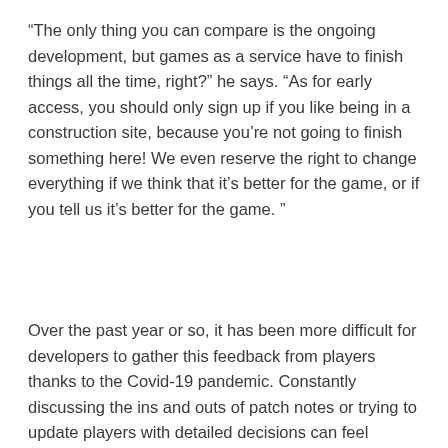“The only thing you can compare is the ongoing development, but games as a service have to finish things all the time, right?” he says. “As for early access, you should only sign up if you like being in a construction site, because you’re not going to finish something here! We even reserve the right to change everything if we think that it’s better for the game, or if you tell us it’s better for the game. ”
Over the past year or so, it has been more difficult for developers to gather this feedback from players thanks to the Covid-19 pandemic. Constantly discussing the ins and outs of patch notes or trying to update players with detailed decisions can feel